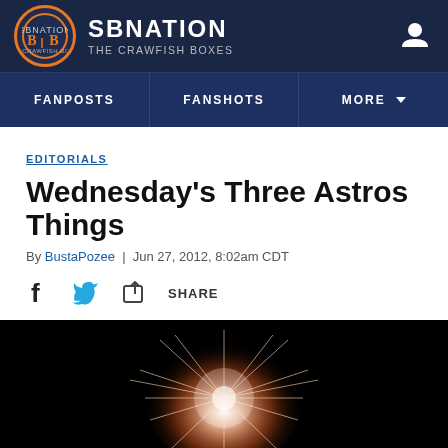SBNATION — THE CRAWFISH BOXES
FANPOSTS | FANSHOTS | MORE
EDITORIALS
Wednesday's Three Astros Things
By BustaPozee | Jun 27, 2012, 8:02am CDT
SHARE
[Figure (photo): Fireworks photo at bottom of page, dark background with burst of light]